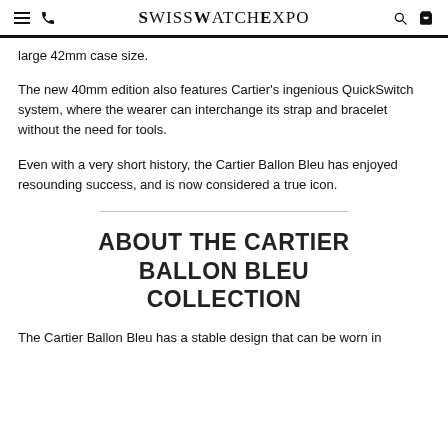SwissWatchExpo
large 42mm case size.
The new 40mm edition also features Cartier's ingenious QuickSwitch system, where the wearer can interchange its strap and bracelet without the need for tools.
Even with a very short history, the Cartier Ballon Bleu has enjoyed resounding success, and is now considered a true icon.
ABOUT THE CARTIER BALLON BLEU COLLECTION
The Cartier Ballon Bleu has a stable design that can be worn in